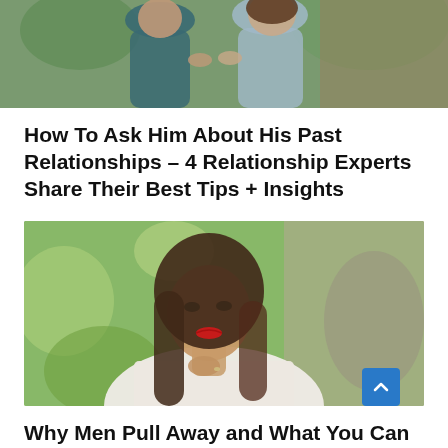[Figure (photo): Partial photo of a couple, cropped at the top of the page, showing two people outdoors]
How To Ask Him About His Past Relationships – 4 Relationship Experts Share Their Best Tips + Insights
[Figure (photo): Portrait of a young woman with long brown hair, red lipstick, wearing a white shirt, looking to the side in an outdoor setting with green bokeh background]
Why Men Pull Away and What You Can Do